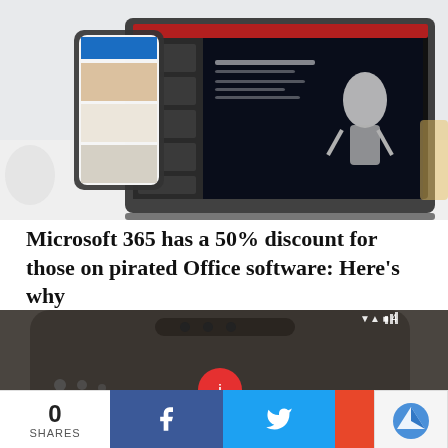[Figure (photo): A laptop running Microsoft PowerPoint with a dark slide showing a satellite/robot figure, and a smartphone beside it on a white surface]
Microsoft 365 has a 50% discount for those on pirated Office software: Here's why
[Figure (photo): Close-up of the top of a dark smartphone showing notification lights and a red circular icon]
0 SHARES
[Figure (infographic): Social share bar with Facebook, Twitter, and plus/share buttons]